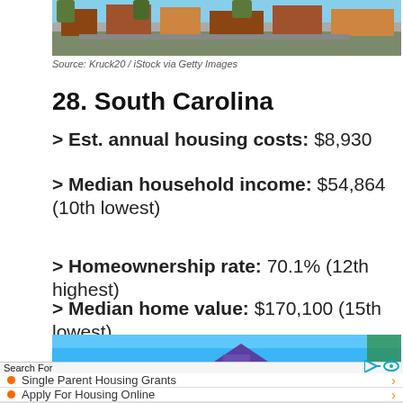[Figure (photo): Aerial street view photo of an urban neighborhood]
Source: Kruck20 / iStock via Getty Images
28. South Carolina
> Est. annual housing costs: $8,930
> Median household income: $54,864 (10th lowest)
> Homeownership rate: 70.1% (12th highest)
> Median home value: $170,100 (15th lowest)
[Figure (photo): Photo of a blue building under a blue sky]
Search For
Single Parent Housing Grants
Apply For Housing Online